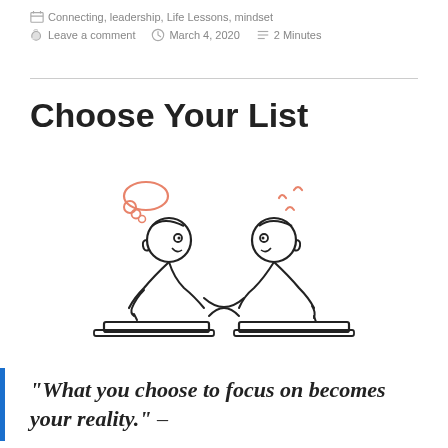Connecting, leadership, Life Lessons, mindset
Leave a comment   March 4, 2020   2 Minutes
Choose Your List
[Figure (illustration): Cartoon illustration of two stick-figure people sitting at desks writing, with thought bubbles above their heads — one has a pink cloud thought bubble, the other has pink squiggles above their head. They appear to be exchanging or crossing papers.]
“What you choose to focus on becomes your reality.” –